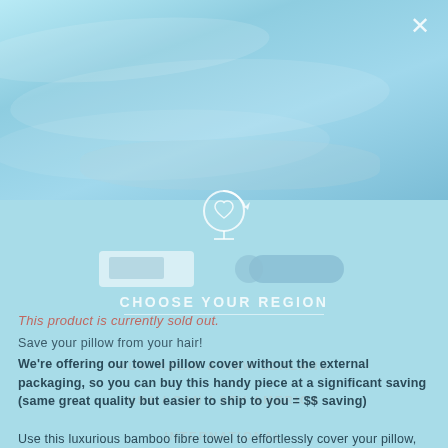[Figure (photo): Product photo of light blue bamboo pillow/fabric with soft folds, light blue background with subtle gradient]
[Figure (illustration): Globe/circle icon with heart inside and circular arrow, with product images of towel pillow covers below it]
CHOOSE YOUR REGION
AUSTRALIA & NEW ZEALAND
USA / CAN / STH AMERICA
INTERNATIONAL
This product is currently sold out.
Save your pillow from your hair!
We're offering our towel pillow cover without the external packaging, so you can buy this handy piece at a significant saving
(same great quality but easier to ship to you = $$ saving)
Use this luxurious bamboo fibre towel to effortlessly cover your pillow, protecting it from any excess Hello Hair oil. Perfect for those times your treat your hair to the deep conditioning...